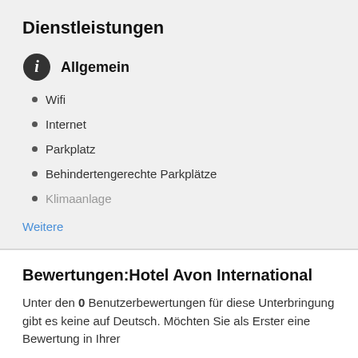Dienstleistungen
Allgemein
Wifi
Internet
Parkplatz
Behindertengerechte Parkplätze
Klimaanlage
Weitere
Bewertungen:Hotel Avon International
Unter den 0 Benutzerbewertungen für diese Unterbringung gibt es keine auf Deutsch. Möchten Sie als Erster eine Bewertung in Ihrer